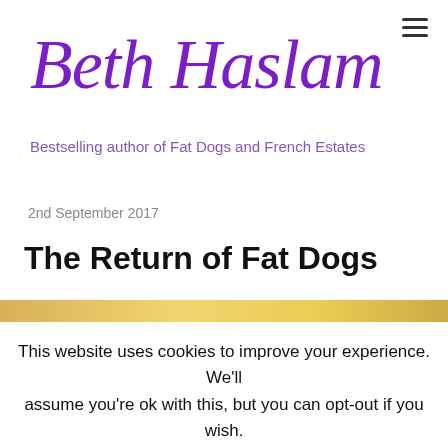Beth Haslam — Bestselling author of Fat Dogs and French Estates
Bestselling author of Fat Dogs and French Estates
2nd September 2017
The Return of Fat Dogs
This website uses cookies to improve your experience. We'll assume you're ok with this, but you can opt-out if you wish.
Cookie settings  ACCEPT